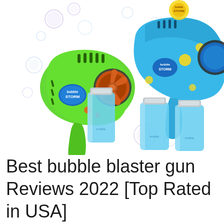[Figure (photo): Product photo showing two bubble blaster guns (one green, one blue) labeled 'Bubble Storm', along with three blue bubble solution bottles and colorful soap bubbles floating around them, on a white background.]
Best bubble blaster gun Reviews 2022 [Top Rated in USA]